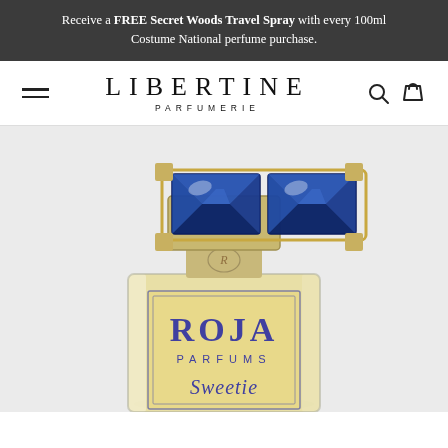Receive a FREE Secret Woods Travel Spray with every 100ml Costume National perfume purchase.
[Figure (logo): Libertine Parfumerie logo with hamburger menu, brand name, and search/cart icons]
[Figure (photo): Roja Parfums Sweetie perfume bottle with blue gem-encrusted gold cap and clear bottle with gold/cream label showing ROJA PARFUMS Sweetie script text, yellow liquid inside, against light grey background]